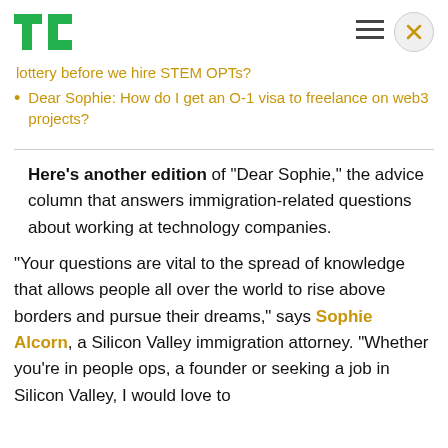TechCrunch
lottery before we hire STEM OPTs?
Dear Sophie: How do I get an O-1 visa to freelance on web3 projects?
Here's another edition of "Dear Sophie," the advice column that answers immigration-related questions about working at technology companies.
“Your questions are vital to the spread of knowledge that allows people all over the world to rise above borders and pursue their dreams,” says Sophie Alcorn, a Silicon Valley immigration attorney. “Whether you’re in people ops, a founder or seeking a job in Silicon Valley, I would love to